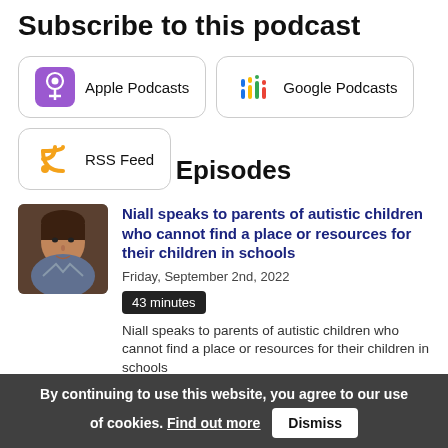Subscribe to this podcast
[Figure (other): Apple Podcasts subscription button with purple podcast icon]
[Figure (other): Google Podcasts subscription button with colorful bar chart icon]
[Figure (other): RSS Feed subscription button with orange RSS icon]
Episodes
[Figure (photo): Headshot photo of a man with dark hair]
Niall speaks to parents of autistic children who cannot find a place or resources for their children in schools
Friday, September 2nd, 2022
43 minutes
Niall speaks to parents of autistic children who cannot find a place or resources for their children in schools
By continuing to use this website, you agree to our use of cookies. Find out more  Dismiss